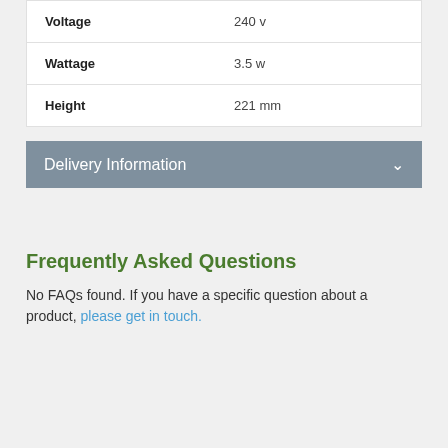| Voltage | 240 v |
| Wattage | 3.5 w |
| Height | 221 mm |
Delivery Information
Frequently Asked Questions
No FAQs found. If you have a specific question about a product, please get in touch.